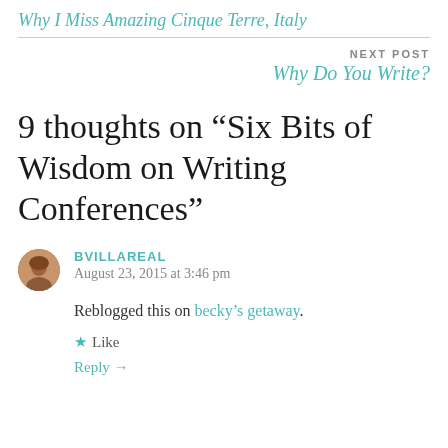Why I Miss Amazing Cinque Terre, Italy
NEXT POST
Why Do You Write?
9 thoughts on “Six Bits of Wisdom on Writing Conferences”
BVILLAREAL
August 23, 2015 at 3:46 pm
Reblogged this on becky’s getaway.
★ Like
Reply →